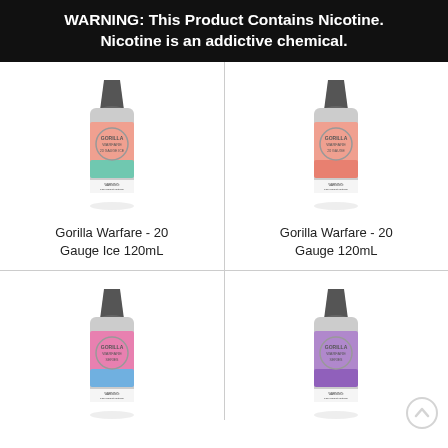WARNING: This Product Contains Nicotine. Nicotine is an addictive chemical.
[Figure (photo): Gorilla Warfare 20 Gauge Ice 120mL e-liquid bottle with silver cap and pink/teal label]
Gorilla Warfare - 20 Gauge Ice 120mL
[Figure (photo): Gorilla Warfare 20 Gauge 120mL e-liquid bottle with silver cap and pink/orange label]
Gorilla Warfare - 20 Gauge 120mL
[Figure (photo): Gorilla Warfare e-liquid bottle with pink/blue label, lower row left]
[Figure (photo): Gorilla Warfare e-liquid bottle with purple label, lower row right]